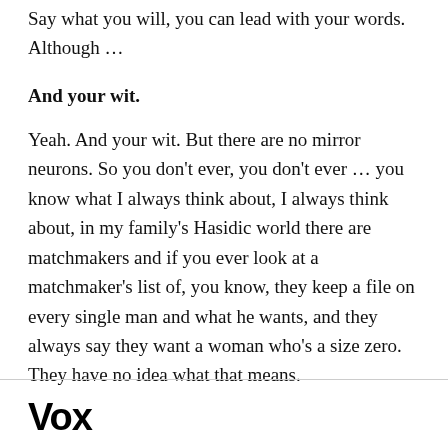Say what you will, you can lead with your words. Although …
And your wit.
Yeah. And your wit. But there are no mirror neurons. So you don't ever, you don't ever … you know what I always think about, I always think about, in my family's Hasidic world there are matchmakers and if you ever look at a matchmaker's list of, you know, they keep a file on every single man and what he wants, and they always say they want a woman who's a size zero. They have no idea what that means.
Vox